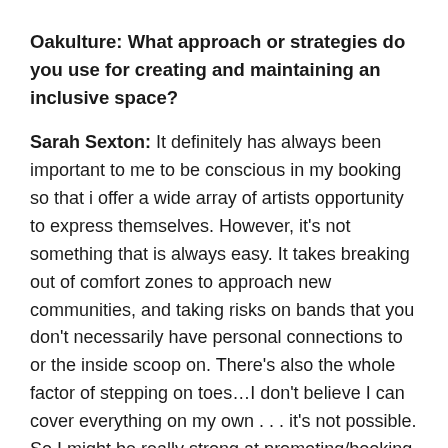Oakulture: What approach or strategies do you use for creating and maintaining an inclusive space?
Sarah Sexton: It definitely has always been important to me to be conscious in my booking so that i offer a wide array of artists opportunity to express themselves. However, it's not something that is always easy. It takes breaking out of comfort zones to approach new communities, and taking risks on bands that you don't necessarily have personal connections to or the inside scoop on. There's also the whole factor of stepping on toes…I don't believe I can cover everything on my own . . . it's not possible. So I might be really strong at promoting/booking indie rock and world music lineups, but that doesn't mean I know the local hip hop or electronic communities. And if I did, what a boring world it would be if